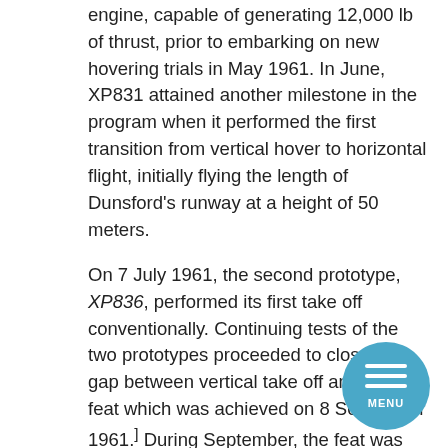engine, capable of generating 12,000 lb of thrust, prior to embarking on new hovering trials in May 1961. In June, XP831 attained another milestone in the program when it performed the first transition from vertical hover to horizontal flight, initially flying the length of Dunsford's runway at a height of 50 meters.
On 7 July 1961, the second prototype, XP836, performed its first take off conventionally. Continuing tests of the two prototypes proceeded to close the gap between vertical take off and flight, a feat which was achieved on 8 September 1961.[1] During September, the feat was repeated multiple times by both prototypes, transitioning from vertical to horizontal flight and vice versa, including instances in which the auto stabiliser was intentionally disabled.